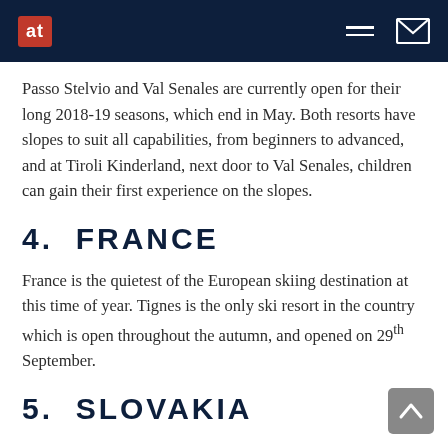at [logo] — navigation header with hamburger menu and mail icon
Passo Stelvio and Val Senales are currently open for their long 2018-19 seasons, which end in May. Both resorts have slopes to suit all capabilities, from beginners to advanced, and at Tiroli Kinderland, next door to Val Senales, children can gain their first experience on the slopes.
4.  FRANCE
France is the quietest of the European skiing destination at this time of year. Tignes is the only ski resort in the country which is open throughout the autumn, and opened on 29th September.
5.  SLOVAKIA